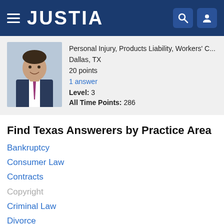JUSTIA
Personal Injury, Products Liability, Workers' C...
Dallas, TX
20 points
1 answer
Level: 3
All Time Points: 286
Find Texas Answerers by Practice Area
Bankruptcy
Consumer Law
Contracts
Copyright
Criminal Law
Divorce
DUI / DWI
Employment Law